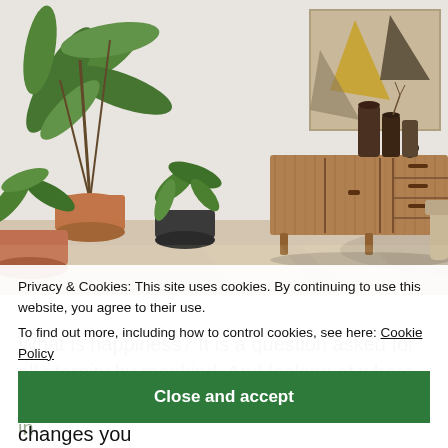[Figure (photo): Interior room photo showing a mid-century modern wooden sideboard/credenza with doors and drawers, decorated with vases and a small bird figurine on top. Large tropical houseplants are visible to the left. An abstract artwork hangs on the white wall behind. Warm natural light on a light-colored floor.]
Privacy & Cookies: This site uses cookies. By continuing to use this website, you agree to their use.
To find out more, including how to control cookies, see here: Cookie Policy
Close and accept
What is happiness? It is a question asked for all eternity by mankind. And looking at where we are now, is...in...
For me, I never knew how much a garden changes you